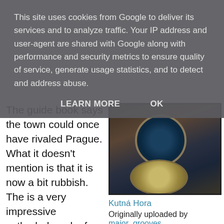This site uses cookies from Google to deliver its services and to analyze traffic. Your IP address and user-agent are shared with Google along with performance and security metrics to ensure quality of service, generate usage statistics, and to detect and address abuse.
LEARN MORE   OK
The guide book says the town could once have rivaled Prague. What it doesn't mention is that it is now a bit rubbish. The is a very impressive cathedral, and a few things to see, but in general the town is quite depressing. I suppose it is more real Czech than disney world Prague. Had a nice neck in Pivnice Dacický, a bohemian adds hall in the town. The best thing to see was the Sedlec Ossuray, which is the church with the bone sculptures. See the photo on previous post. Ewan McGregor and Charlie Boorman went there at the start of The Long Way Round so we had to
[Figure (photo): Photo of Kutná Hora astronomical clock on a gothic building facade, dark toned image showing ornate clock face and decorative architectural details]
Kutná Hora
Originally uploaded by major_grooves.